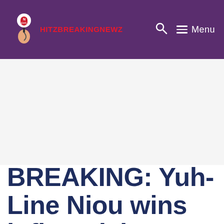HITZBREAKINGNEWZ — Menu
[Figure (other): Large white advertisement/banner placeholder area below header]
BREAKING: Yuh-Line Niou wins influential Working